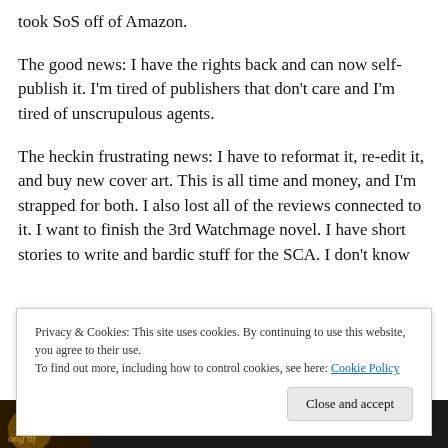took SoS off of Amazon.
The good news: I have the rights back and can now self-publish it. I'm tired of publishers that don't care and I'm tired of unscrupulous agents.
The heckin frustrating news: I have to reformat it, re-edit it, and buy new cover art. This is all time and money, and I'm strapped for both. I also lost all of the reviews connected to it. I want to finish the 3rd Watchmage novel. I have short stories to write and bardic stuff for the SCA. I don't know
Privacy & Cookies: This site uses cookies. By continuing to use this website, you agree to their use.
To find out more, including how to control cookies, see here: Cookie Policy
Close and accept
[Figure (illustration): Bottom bar with book cover thumbnail on left showing 'Song of' text and decorative medieval/fantasy styling, with quote text 'Engaging and Complex' on right in italic gold text on dark background]